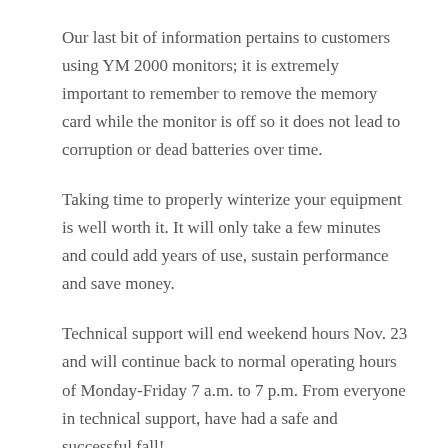Our last bit of information pertains to customers using YM 2000 monitors; it is extremely important to remember to remove the memory card while the monitor is off so it does not lead to corruption or dead batteries over time.
Taking time to properly winterize your equipment is well worth it. It will only take a few minutes and could add years of use, sustain performance and save money.
Technical support will end weekend hours Nov. 23 and will continue back to normal operating hours of Monday-Friday 7 a.m. to 7 p.m. From everyone in technical support, have had a safe and successful fall!
Become a fan of Ag Leader on Facebook today, and get the latest precision ag videos on the YouTube channel. For more